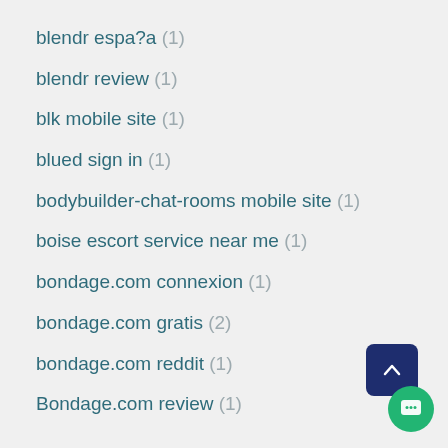blendr espa?a (1)
blendr review (1)
blk mobile site (1)
blued sign in (1)
bodybuilder-chat-rooms mobile site (1)
boise escort service near me (1)
bondage.com connexion (1)
bondage.com gratis (2)
bondage.com reddit (1)
Bondage.com review (1)